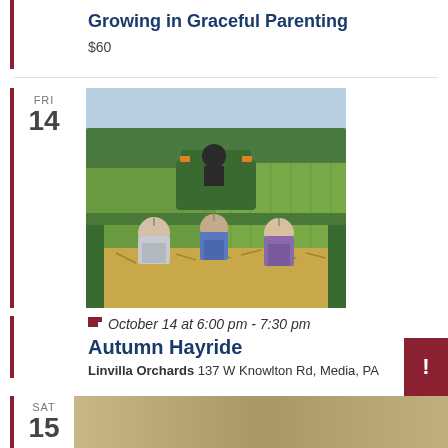Growing in Graceful Parenting
$60
FRI 14
[Figure (photo): Three children kneeling on hay in a green wagon being pulled by a green tractor through a cornfield, viewed from behind.]
October 14 at 6:00 pm - 7:30 pm
Autumn Hayride
Linvilla Orchards 137 W Knowlton Rd, Media, PA
SAT 15